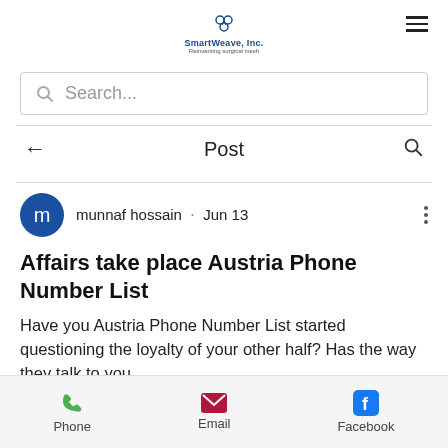[Figure (logo): SmartWeave, Inc. logo with tagline 'Reinventing surgical mesh']
Search...
Post
munnaf hossain · Jun 13
Affairs take place Austria Phone Number List
Have you Austria Phone Number List started questioning the loyalty of your other half? Has the way they talk to you
Phone   Email   Facebook